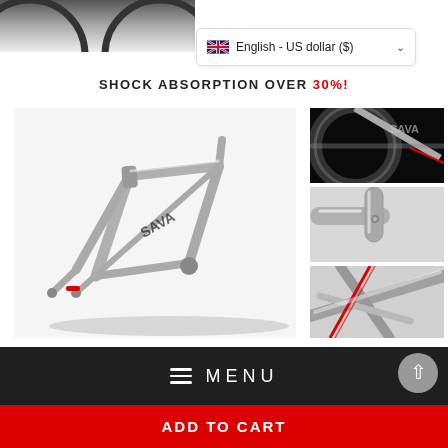[Figure (screenshot): Top portion of a bicycle frame product page showing a cropped product image on the left and a language/currency selector dropdown (English - US dollar ($)) on the right]
SHOCK ABSORPTION OVER 30%!
[Figure (photo): Main product photo of a silver/titanium SAVA bicycle frame on white background]
[Figure (photo): Thumbnail 1: Close-up of bicycle frame joint area on dark background]
[Figure (photo): Thumbnail 2: Close-up of bicycle frame tube junction on light background]
[Figure (photo): Thumbnail 3: Close-up of bicycle frame bottom bracket/cable area]
MENU
ADD TO CART